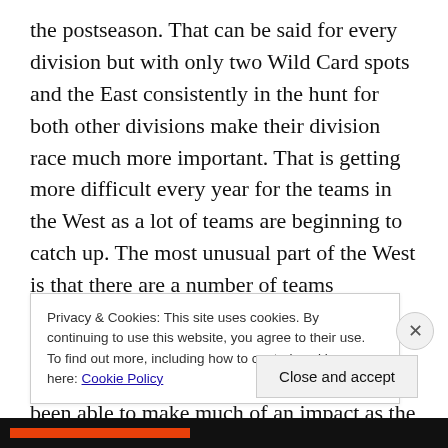the postseason. That can be said for every division but with only two Wild Card spots and the East consistently in the hunt for both other divisions make their division race much more important. That is getting more difficult every year for the teams in the West as a lot of teams are beginning to catch up. The most unusual part of the West is that there are a number of teams becoming true contenders for the World Series in drastically different ways. Of course there are the teams that have not been able to make much of an impact as the Houston Astros have been the worst team in the league for a number of
Privacy & Cookies: This site uses cookies. By continuing to use this website, you agree to their use.
To find out more, including how to control cookies, see here: Cookie Policy
Close and accept